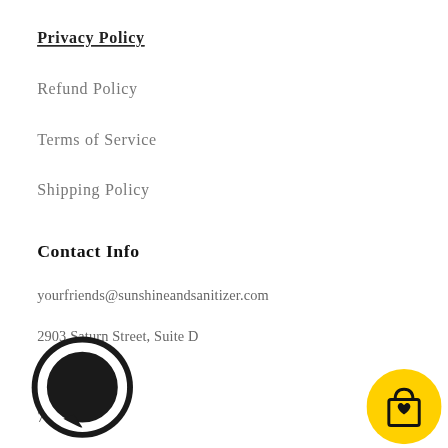Privacy Policy
Refund Policy
Terms of Service
Shipping Policy
Contact Info
yourfriends@sunshineandsanitizer.com
2903 Saturn Street, Suite D
CA 92821
714-605-7355
[Figure (illustration): Black circular chat/messenger bubble icon at bottom left]
[Figure (illustration): Yellow circular shopping bag with heart icon at bottom right]